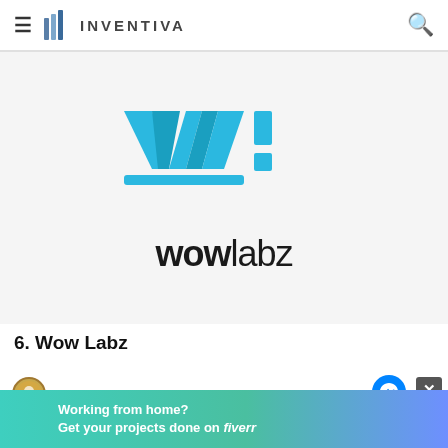INVENTIVA
[Figure (logo): Wowlabz logo: stylized blue W with exclamation mark, and text 'wowlabz' below]
6. Wow Labz
Chat with Inventiva
[Figure (infographic): Fiverr advertisement banner: 'Working from home? Get your projects done on fiverr' with teal-to-purple gradient background]